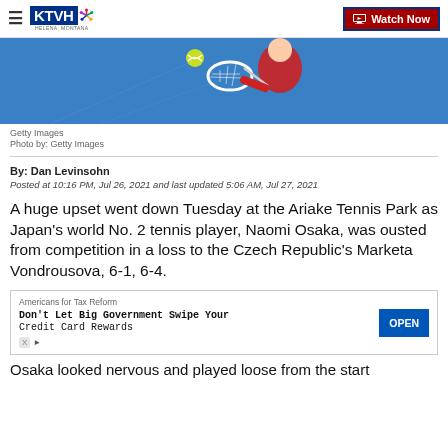KTVH | Watch Now
[Figure (photo): Tennis player wearing red, hitting a shot with a white racket, tennis ball visible, blue court background]
Getty Images
Photo by: Getty Images
By: Dan Levinsohn
Posted at 10:16 PM, Jul 26, 2021 and last updated 5:06 AM, Jul 27, 2021
A huge upset went down Tuesday at the Ariake Tennis Park as Japan's world No. 2 tennis player, Naomi Osaka, was ousted from competition in a loss to the Czech Republic's Marketa Vondrousova, 6-1, 6-4.
[Figure (screenshot): Advertisement: Americans for Tax Reform - Don't Let Big Government Swipe Your Credit Card Rewards - OPEN button]
Osaka looked nervous and played loose from the start